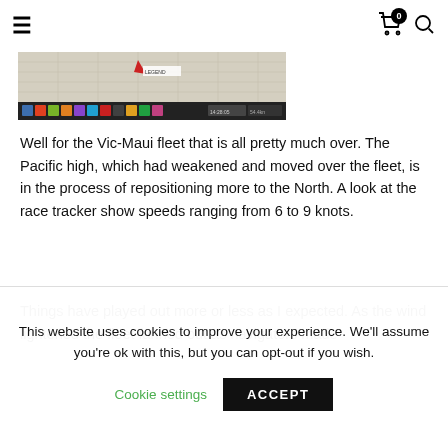Navigation bar with hamburger menu, cart icon (0), and search icon
[Figure (screenshot): Screenshot of a map/navigation software showing a nautical chart with a taskbar at the bottom]
Well for the Vic-Maui fleet that is all pretty much over. The Pacific high, which had weakened and moved over the fleet, is in the process of repositioning more to the North. A look at the race tracker show speeds ranging from 6 to 9 knots.
Things have played out more or less as I expected. As the wind lightened the fleet fanned out as navigators made
This website uses cookies to improve your experience. We'll assume you're ok with this, but you can opt-out if you wish.